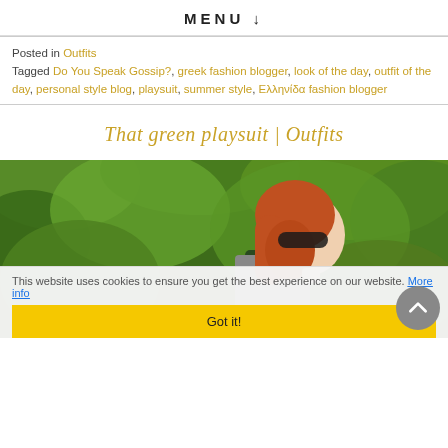MENU ↓
Posted in Outfits
Tagged Do You Speak Gossip?, greek fashion blogger, look of the day, outfit of the day, personal style blog, playsuit, summer style, Ελληνίδα fashion blogger
That green playsuit | Outfits
[Figure (photo): Woman with red hair and sunglasses wearing a grey t-shirt and dark green playsuit, standing in front of lush green foliage/trees]
This website uses cookies to ensure you get the best experience on our website. More info
Got it!